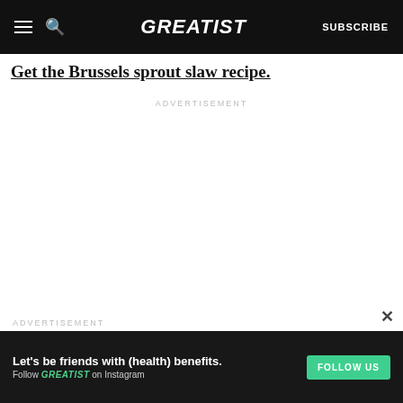GREATIST — SUBSCRIBE
Get the Brussels sprout slaw recipe.
ADVERTISEMENT
×
ADVERTISEMENT
Let's be friends with (health) benefits. Follow GREATIST on Instagram  FOLLOW US